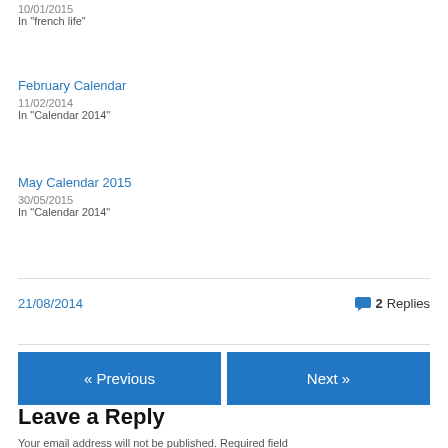10/01/2015
In "french life"
February Calendar
11/02/2014
In "Calendar 2014"
May Calendar 2015
30/05/2015
In "Calendar 2014"
21/08/2014
2 Replies
« Previous
Next »
Leave a Reply
Your email address will not be published. Required fields